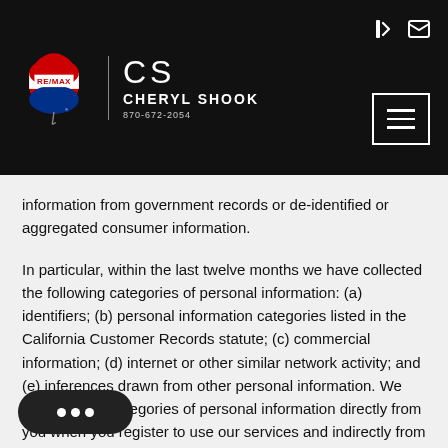CS CHERYL SHOOK 870-672-2054
information from government records or de-identified or aggregated consumer information.
In particular, within the last twelve months we have collected the following categories of personal information: (a) identifiers; (b) personal information categories listed in the California Customer Records statute; (c) commercial information; (d) internet or other similar network activity; and (e) inferences drawn from other personal information. We gather these categories of personal information directly from you when you register to use our services and indirectly from you as you interact with our website. Please note, that you may visit our website anonymously.